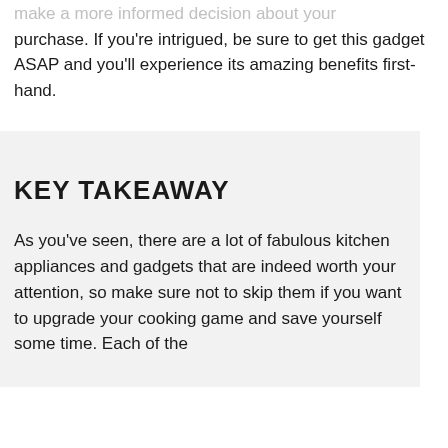make a more informed decision about your purchase. If you're intrigued, be sure to get this gadget ASAP and you'll experience its amazing benefits first-hand.
KEY TAKEAWAY
As you've seen, there are a lot of fabulous kitchen appliances and gadgets that are indeed worth your attention, so make sure not to skip them if you want to upgrade your cooking game and save yourself some time. Each of the